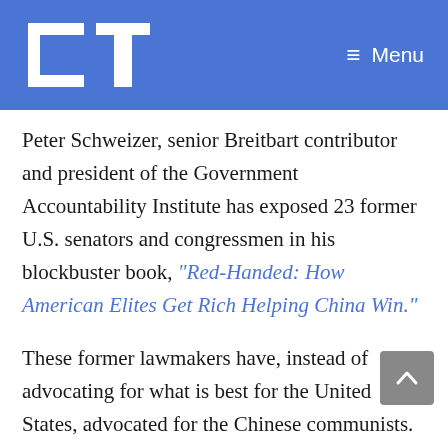LT  Menu
Peter Schweizer, senior Breitbart contributor and president of the Government Accountability Institute has exposed 23 former U.S. senators and congressmen in his blockbuster book, “Red-Handed: How American Elites Get Rich Helping China Win.”
These former lawmakers have, instead of advocating for what is best for the United States, advocated for the Chinese communists.